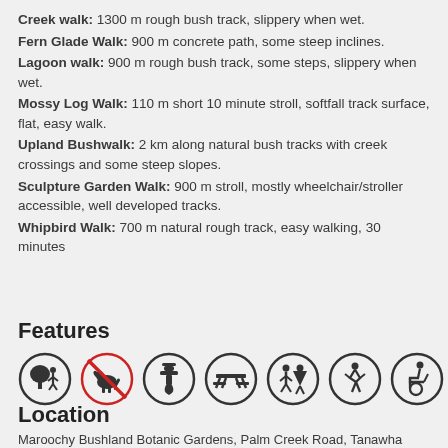Creek walk: 1300 m rough bush track, slippery when wet.
Fern Glade Walk: 900 m concrete path, some steep inclines.
Lagoon walk: 900 m rough bush track, some steps, slippery when wet.
Mossy Log Walk: 110 m short 10 minute stroll, softfall track surface, flat, easy walk.
Upland Bushwalk: 2 km along natural bush tracks with creek crossings and some steep slopes.
Sculpture Garden Walk: 900 m stroll, mostly wheelchair/stroller accessible, well developed tracks.
Whipbird Walk: 700 m natural rough track, easy walking, 30 minutes
Features
[Figure (infographic): Row of 7 circular icons representing park features: bushland/nature, no dogs (red circle with line through dog), drinking water/tap, picnic table, toilets (male/female), walking person, wheelchair accessible]
Location
Maroochy Bushland Botanic Gardens, Palm Creek Road, Tanawha